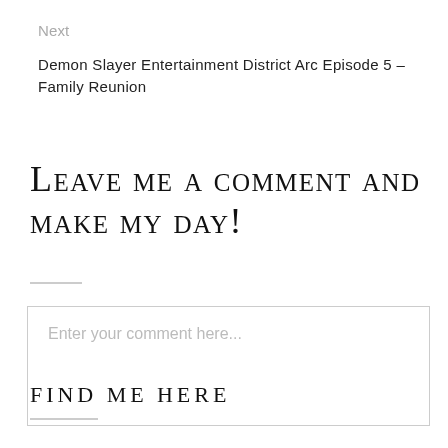Next
Demon Slayer Entertainment District Arc Episode 5 – Family Reunion
Leave me a comment and make my day!
Enter your comment here...
FIND ME HERE